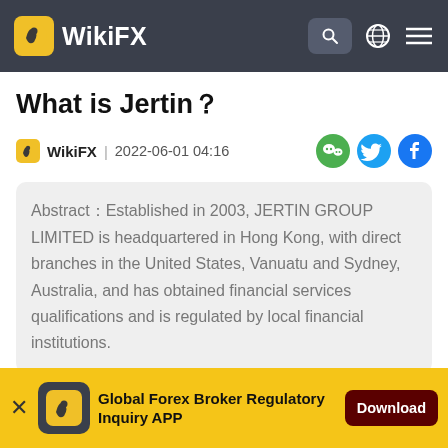WikiFX
What is Jertin？
WikiFX | 2022-06-01 04:16
Abstract：Established in 2003, JERTIN GROUP LIMITED is headquartered in Hong Kong, with direct branches in the United States, Vanuatu and Sydney, Australia, and has obtained financial services qualifications and is regulated by local financial institutions.
Established in 2003, JERTIN GROUP LIMITED
Global Forex Broker Regulatory Inquiry APP Download